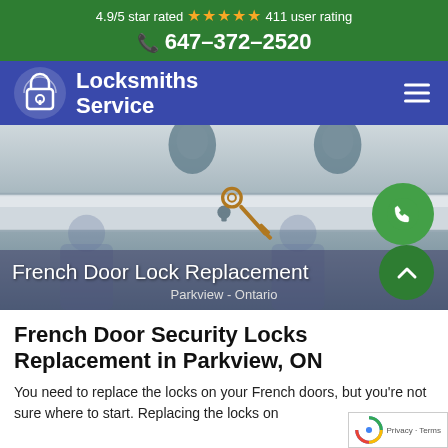4.9/5 star rated ★★★★★ 411 user rating
📞 647-372-2520
[Figure (logo): Locksmiths Service logo with padlock icon and brand name in white on dark blue navigation bar]
[Figure (photo): Photo of a French door lock/push bar with a key inserted, overlaid with title text 'French Door Lock Replacement' and subtitle 'Parkview - Ontario', plus green phone call button and green up-arrow button]
French Door Security Locks Replacement in Parkview, ON
You need to replace the locks on your French doors, but you're not sure where to start. Replacing the locks on